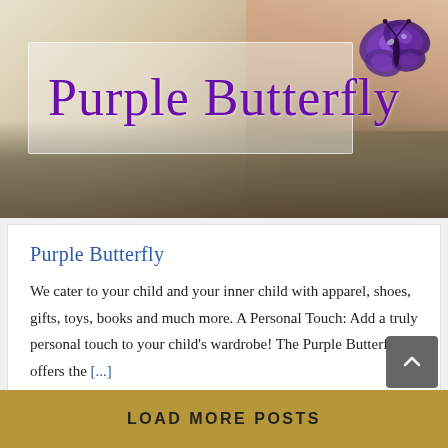[Figure (illustration): Purple Butterfly store banner with cursive purple text reading 'Purple Butterfly' and a purple butterfly graphic on the right, over a soft background with baby/fabric imagery]
Purple Butterfly
We cater to your child and your inner child with apparel, shoes, gifts, toys, books and much more. A Personal Touch: Add a truly personal touch to your child's wardrobe! The Purple Butterfly offers the [...]
LOAD MORE POSTS